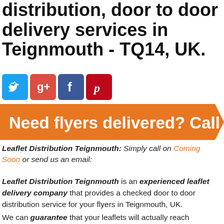distribution, door to door delivery services in Teignmouth - TQ14, UK.
[Figure (illustration): Social media icons: Twitter (blue bird), Google+ (red g+), Facebook (blue f), Pinterest (red p)]
[Figure (infographic): Orange banner with white bold text: Need flyers delivered? Call]
Leaflet Distribution Teignmouth: Simply call on Coming Soon or send us an email:
Leaflet Distribution Teignmouth is an experienced leaflet delivery company that provides a checked door to door distribution service for your flyers in Teignmouth, UK.
We can guarantee that your leaflets will actually reach letterboxes because we have been providing this service since 2004 on a daily basis.